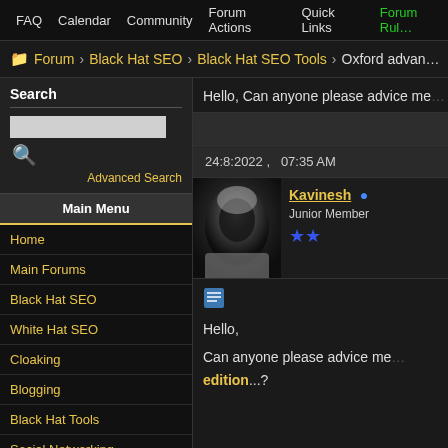FAQ  Calendar  Community  Forum Actions  Quick Links  Forum Rules
Forum  Black Hat SEO  Black Hat SEO Tools  Oxford advan...
Search
Advanced Search
Main Menu
Home
Main Forums
Black Hat SEO
White Hat SEO
Cloaking
Blogging
Black Hat Tools
Social Networking
Hello, Can anyone please advice me
24:8:2022 ,   07:35 AM
Kavinesh • Junior Member
Hello,

Can anyone please advice me edition...?